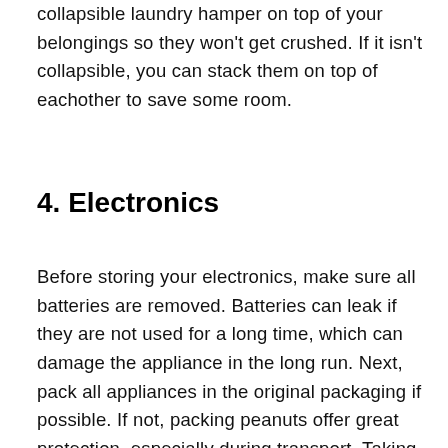collapsible laundry hamper on top of your belongings so they won't get crushed. If it isn't collapsible, you can stack them on top of eachother to save some room.
4. Electronics
Before storing your electronics, make sure all batteries are removed. Batteries can leak if they are not used for a long time, which can damage the appliance in the long run. Next, pack all appliances in the original packaging if possible. If not, packing peanuts offer great protection, especially during transport. Taking the time to cover your screens with a cloth will